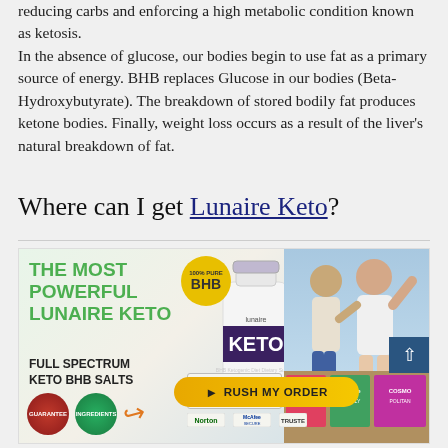reducing carbs and enforcing a high metabolic condition known as ketosis. In the absence of glucose, our bodies begin to use fat as a primary source of energy. BHB replaces Glucose in our bodies (Beta-Hydroxybutyrate). The breakdown of stored bodily fat produces ketone bodies. Finally, weight loss occurs as a result of the liver’s natural breakdown of fat.
Where can I get Lunaire Keto?
[Figure (infographic): Advertisement for Lunaire Keto supplement featuring product bottle with BHB badge, green bold text reading THE MOST POWERFUL LUNAIRE KETO FULL SPECTRUM KETO BHB SALTS, an orange RUSH MY ORDER button, trust/security icons, guarantee badges, people in background, and magazine covers.]